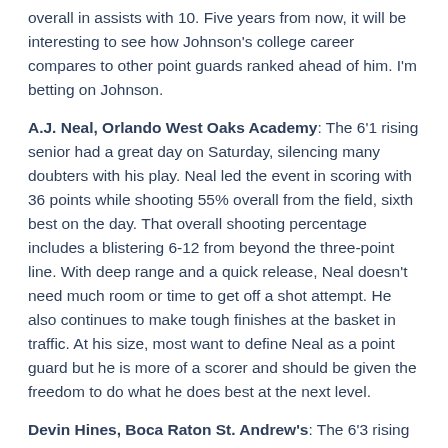overall in assists with 10. Five years from now, it will be interesting to see how Johnson's college career compares to other point guards ranked ahead of him. I'm betting on Johnson.
A.J. Neal, Orlando West Oaks Academy: The 6'1 rising senior had a great day on Saturday, silencing many doubters with his play. Neal led the event in scoring with 36 points while shooting 55% overall from the field, sixth best on the day. That overall shooting percentage includes a blistering 6-12 from beyond the three-point line. With deep range and a quick release, Neal doesn't need much room or time to get off a shot attempt. He also continues to make tough finishes at the basket in traffic. At his size, most want to define Neal as a point guard but he is more of a scorer and should be given the freedom to do what he does best at the next level.
Devin Hines, Boca Raton St. Andrew's: The 6'3 rising senior